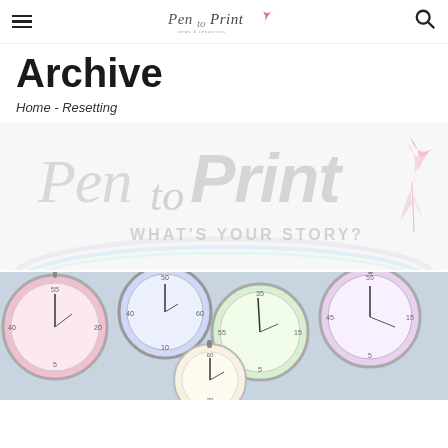Pen to Print — navigation header with hamburger menu and search icon
Archive
Home - Resetting
[Figure (logo): Pen to Print watermark logo with text 'Pen to Print WHAT'S YOUR STORY?' in light grey, with pink feather quill, on white/light grey background with rainbow arc]
[Figure (photo): Photo of multiple colorful stopwatch/pocket watch faces overlapping, in pink, blue, green, yellow tones]